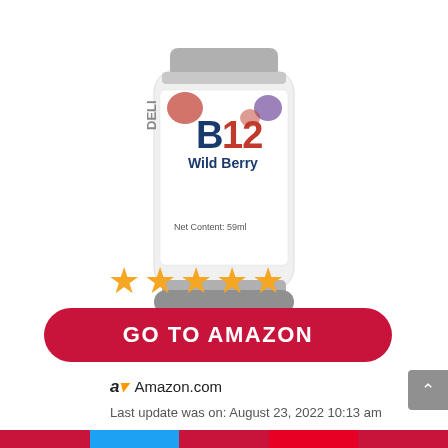[Figure (photo): Product photo of a B12 Wild Berry supplement bottle, showing the label with 'B12 Wild Berry' and 'Net Content: 59ml', partial view of bottle cap and bottom, white background.]
[Figure (other): Five gold/orange star rating icons]
GO TO AMAZON
Amazon.com
Last update was on: August 23, 2022 10:13 am
METHYLCOBALAMIN VITAMIN B12: Our